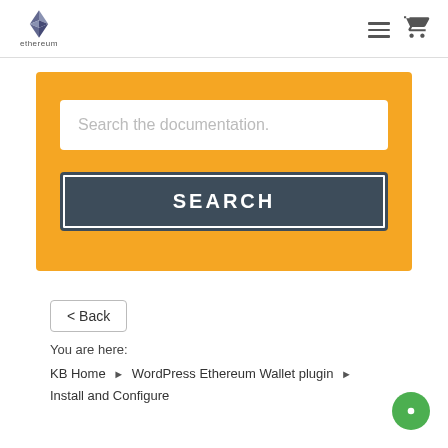ethereum
[Figure (screenshot): Orange search box with text input placeholder 'Search the documentation.' and a dark SEARCH button below it]
< Back
You are here:
KB Home ► WordPress Ethereum Wallet plugin ► Install and Configure